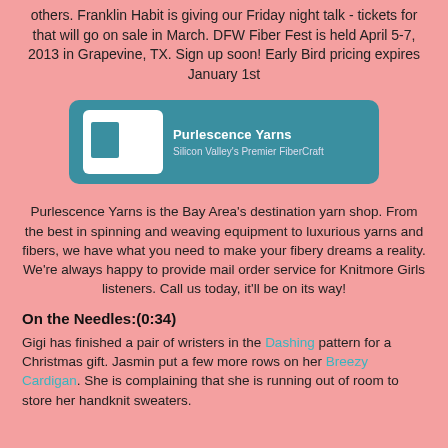others.  Franklin Habit is giving our Friday night talk - tickets for that will go on sale in March.  DFW Fiber Fest is held April 5-7, 2013 in Grapevine, TX.  Sign up soon! Early Bird pricing expires January 1st
[Figure (logo): Purlescence Yarns logo on teal/blue-green banner with spinning wheel icon. Text: 'Purlescence Yarns' and 'Silicon Valley's Premier FiberCraft']
Purlescence Yarns is the Bay Area's destination yarn shop. From the best in spinning and weaving equipment to luxurious yarns and fibers, we have what you need to make your fibery dreams a reality. We're always happy to provide mail order service for Knitmore Girls listeners. Call us today, it'll be on its way!
On the Needles:(0:34)
Gigi has finished a pair of wristers in the Dashing pattern for a Christmas gift. Jasmin put a few more rows on her Breezy Cardigan. She is complaining that she is running out of room to store her handknit sweaters.